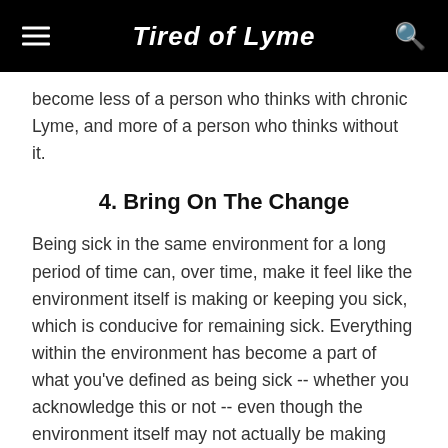Tired of Lyme
become less of a person who thinks with chronic Lyme, and more of a person who thinks without it.
4. Bring On The Change
Being sick in the same environment for a long period of time can, over time, make it feel like the environment itself is making or keeping you sick, which is conducive for remaining sick. Everything within the environment has become a part of what you've defined as being sick -- whether you acknowledge this or not -- even though the environment itself may not actually be making you sick.